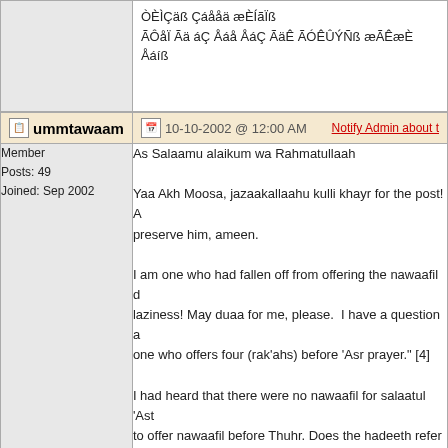ÒÈÌÇäß Çáååä æÈÍãÏß ÃÔåÏ Ãä áÇ Åáå ÅáÇ ÃäÊ ÃÓÊÛÝÑß æÃÊæÈ Åáíß
ummtawaam | 10-10-2002 @ 12:00 AM | Notify Admin about
Member
Posts: 49
Joined: Sep 2002
As Salaamu alaikum wa Rahmatullaah

Yaa Akh Moosa, jazaakallaahu kulli khayr for the post! preserve him, ameen.

I am one who had fallen off from offering the nawaafil d laziness! May duaa for me, please. I have a question a one who offers four (rak'ahs) before 'Asr prayer." [4]

I had heard that there were no nawaafil for salaatul 'As to offer nawaafil before Thuhr. Does the hadeeth refer t

Was Salaams,
Umm Taw'aam
Moosaa | 10-10-2002 @ 12:00 AM | Notify Admin about
Member
Posts: 1280
Joined: Sep 2002
wa 'alaykumus-salaamu wa rahmatullaah

Obviously, from the hadeeth mentioned ("May Allaah ha

On top of that, the Prophet (sallallaahu 'alayhe wa salla "taslooms". Thats from a hadeeth in At-Tirmithoo (#430